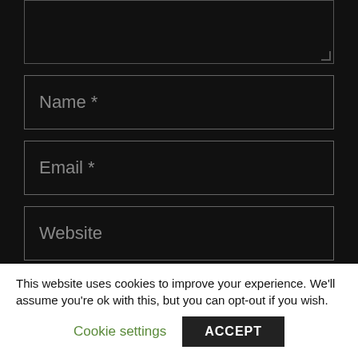[Figure (screenshot): Textarea input field (comment box) with resize handle in bottom right corner, dark background]
Name *
Email *
Website
Save my name, email, and website in this browser for the next time I comment.
This website uses cookies to improve your experience. We'll assume you're ok with this, but you can opt-out if you wish.
Cookie settings
ACCEPT